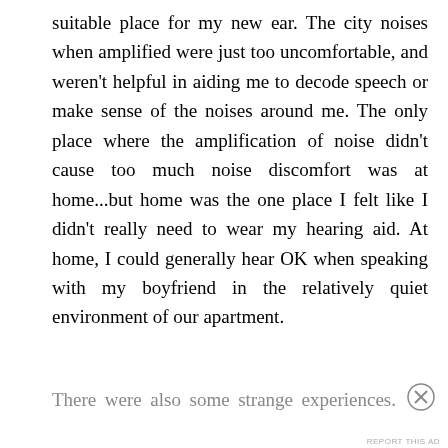suitable place for my new ear. The city noises when amplified were just too uncomfortable, and weren't helpful in aiding me to decode speech or make sense of the noises around me. The only place where the amplification of noise didn't cause too much noise discomfort was at home...but home was the one place I felt like I didn't really need to wear my hearing aid. At home, I could generally hear OK when speaking with my boyfriend in the relatively quiet environment of our apartment.
There were also some strange experiences. Or-
[Figure (other): Advertisement banner with blue background. Top text: AUTOMATTIC (in small caps). Main text: Love working again. (bold, white). Labeled 'Advertisements' above.]